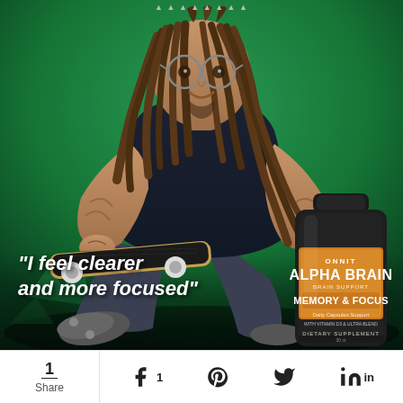[Figure (photo): Advertisement photo of a tattooed man with dreadlocks and glasses, sitting on a green background holding a skateboard, with an Onnit Alpha Brain Memory & Focus supplement bottle visible in the lower right corner. White italic text reads: "I feel clearer and more focused"]
1 Share  [Facebook] 1  [Pinterest]  [Twitter]  [LinkedIn]